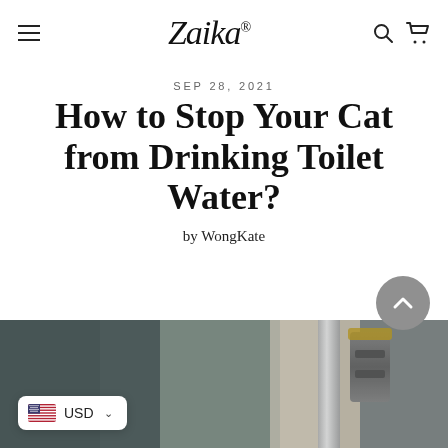Zaika (logo with hamburger menu, search, and cart icons)
SEP 28, 2021
How to Stop Your Cat from Drinking Toilet Water?
by WongKate
[Figure (photo): Photograph of a bathroom fixture/faucet with blurred background, partial view]
USD